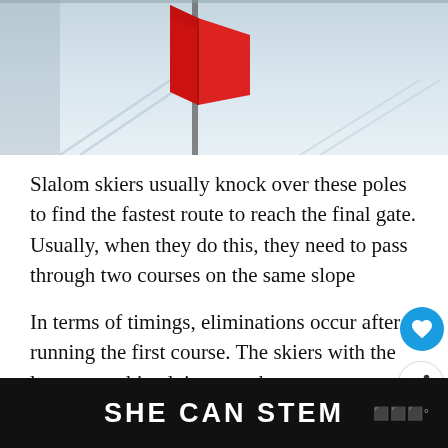[Figure (photo): Aerial or close-up photo of a red slalom gate/flag on a snowy ski slope with ski tracks visible]
Slalom skiers usually knock over these poles to find the fastest route to reach the final gate. Usually, when they do this, they need to pass through two courses on the same slope
In terms of timings, eliminations occur after running the first course. The skiers with the lowest combined time across the courses are named the winner. The exact nature of the rules will depend on the comp...
[Figure (screenshot): UI overlay showing a heart/like button, share button, and a 'What's Next' recommendation card showing a skier icon and text 'Can Ski Pants Be Hemmed...']
SHE CAN STEM